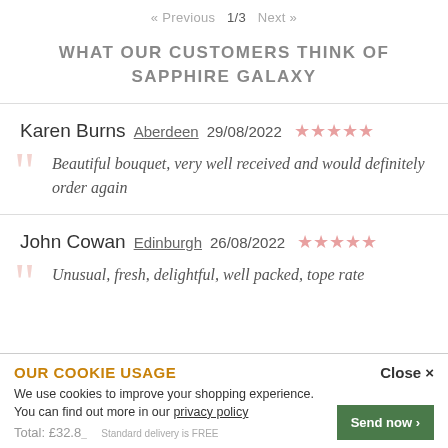« Previous  1/3  Next »
WHAT OUR CUSTOMERS THINK OF SAPPHIRE GALAXY
Karen Burns  Aberdeen  29/08/2022  ★★★★★
Beautiful bouquet, very well received and would definitely order again
John Cowan  Edinburgh  26/08/2022  ★★★★★
Unusual, fresh, delightful, well packed, tope rate
OUR COOKIE USAGE  Close ×
We use cookies to improve your shopping experience. You can find out more in our privacy policy
Total: £32.8_  Standard delivery is FREE  Send now >